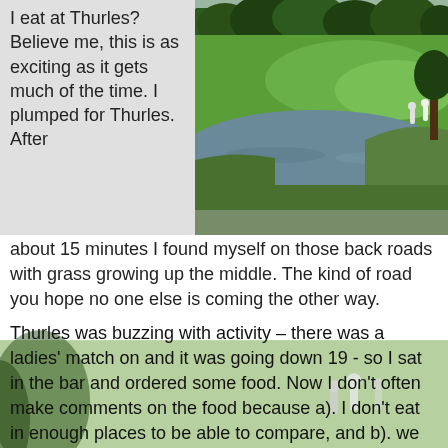I eat at Thurles? Believe me, this is as exciting as it gets much of the time. I plumped for Thurles. After about 15 minutes I found myself on those back roads with grass growing up the middle. The kind of road you hope no one else is coming the other way.
[Figure (photo): Aerial view of Thurles golf course showing green fairways, a water hazard/pond, trees in background, and a swan on the water]
Thurles was buzzing with activity – there was a ladies' match on and it was going down 19 - so I sat in the bar and ordered some food. Now I don't often make comments on the food because a). I don't eat in enough places to be able to compare, and b). we all can have an off-night once in a while. But my food was not great, and I overheard someone else making the comment that the food at Thurles had not been good for a while. In a club that is recognised as a good parkland you need to have good food.